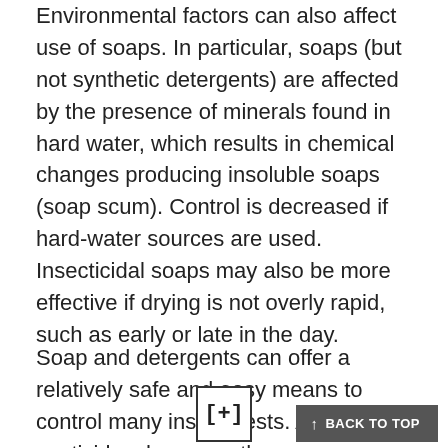Environmental factors can also affect use of soaps. In particular, soaps (but not synthetic detergents) are affected by the presence of minerals found in hard water, which results in chemical changes producing insoluble soaps (soap scum). Control is decreased if hard-water sources are used. Insecticidal soaps may also be more effective if drying is not overly rapid, such as early or late in the day.
Soap and detergents can offer a relatively safe and easy means to control many insect pests. As with all pesticides, however, there are limitation and hazards associated with their use. Understand these limitations and care for the all label instructions.